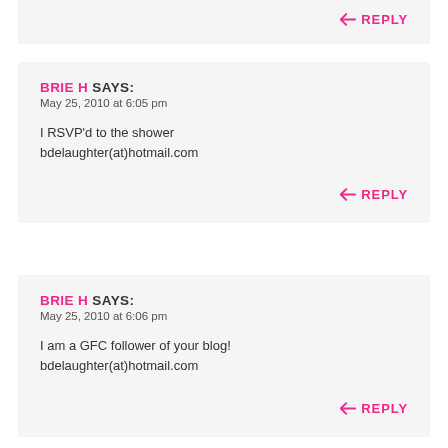REPLY (partial, top of page)
BRIE H SAYS:
May 25, 2010 at 6:05 pm

I RSVP'd to the shower
bdelaughter(at)hotmail.com
REPLY
BRIE H SAYS:
May 25, 2010 at 6:06 pm

I am a GFC follower of your blog!
bdelaughter(at)hotmail.com
REPLY (partial, bottom of page)